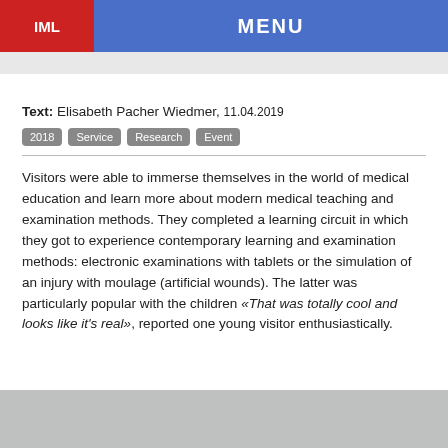IML  MENU
Text: Elisabeth Pacher Wiedmer, 11.04.2019
2018  Service  Research  Event
Visitors were able to immerse themselves in the world of medical education and learn more about modern medical teaching and examination methods. They completed a learning circuit in which they got to experience contemporary learning and examination methods: electronic examinations with tablets or the simulation of an injury with moulage (artificial wounds). The latter was particularly popular with the children «That was totally cool and looks like it's real», reported one young visitor enthusiastically.
[Figure (photo): Gray placeholder image at the bottom of the page]